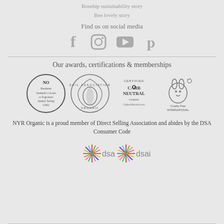Rosehip sustainability story
Bee lovely story
Find us on social media
[Figure (illustration): Four social media icons: Facebook, Instagram, YouTube, Pinterest, shown in grey]
Our awards, certifications & memberships
[Figure (illustration): Four certification badges: NO Parabens Synthetic Colours or fragrances Animal Testing GMO; Soil Association Organic; Certified Carbon Neutral company CarbonNeutral.com; Cruelty Free International]
NYR Organic is a proud member of Direct Selling Association and abides by the DSA Consumer Code
[Figure (logo): DSA and DSAI logos with colourful star/burst icons]